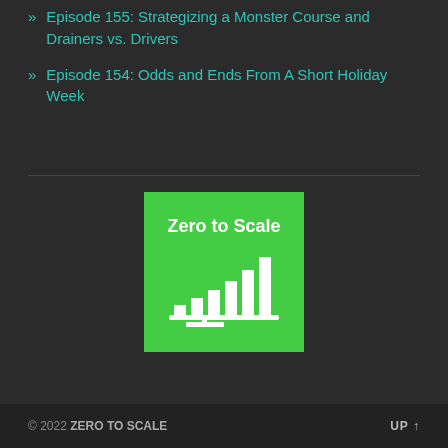Episode 155: Strategizing a Monster Course and Drainers vs. Drivers
Episode 154: Odds and Ends From A Short Holiday Week
[Figure (logo): Zero to Scale podcast logo — green square with white bold text 'Zero to Scale' and white bar chart icon below]
© 2022 ZERO TO SCALE    UP ↑